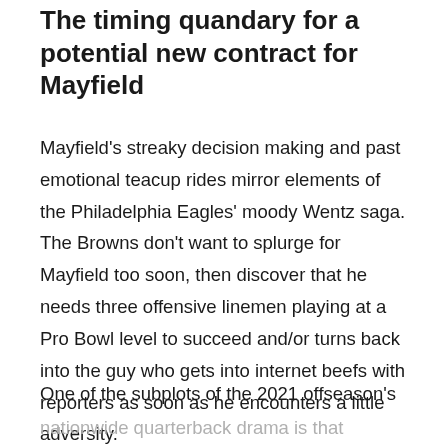The timing quandary for a potential new contract for Mayfield
Mayfield's streaky decision making and past emotional teacup rides mirror elements of the Philadelphia Eagles' moody Wentz saga. The Browns don't want to splurge for Mayfield too soon, then discover that he needs three offensive linemen playing at a Pro Bowl level to succeed and/or turns back into the guy who gets into internet beefs with reporters as soon as he encounters a little adversity.
One of the subplots of the 2021 offseason's
nationwide quarterback drama is that extensions are